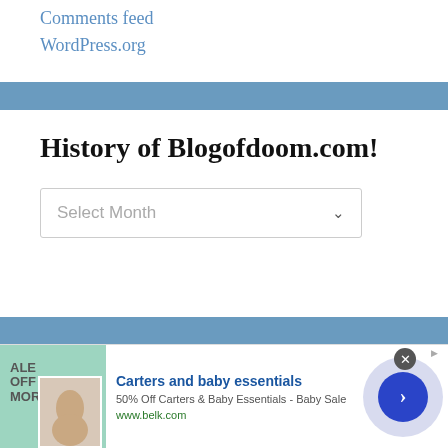Comments feed
WordPress.org
History of Blogofdoom.com!
Select Month
[Figure (screenshot): Advertisement banner: Carters and baby essentials. 50% Off Carters & Baby Essentials - Baby Sale. www.belk.com]